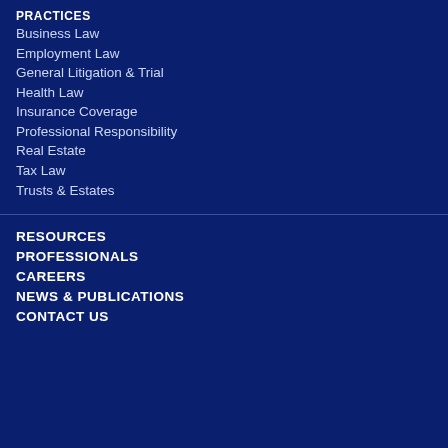PRACTICES
Business Law
Employment Law
General Litigation & Trial
Health Law
Insurance Coverage
Professional Responsibility
Real Estate
Tax Law
Trusts & Estates
RESOURCES
PROFESSIONALS
CAREERS
NEWS & PUBLICATIONS
CONTACT US